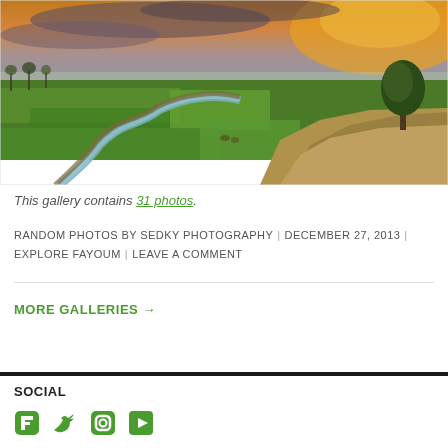[Figure (photo): Aerial landscape photo of Egyptian countryside (Fayoum) showing winding irrigation canals through green fields with a dramatic sunset sky in the background and a lone tree on the right.]
This gallery contains 31 photos.
RANDOM PHOTOS BY SEDKY PHOTOGRAPHY | DECEMBER 27, 2013 | EXPLORE FAYOUM | LEAVE A COMMENT
MORE GALLERIES →
SOCIAL